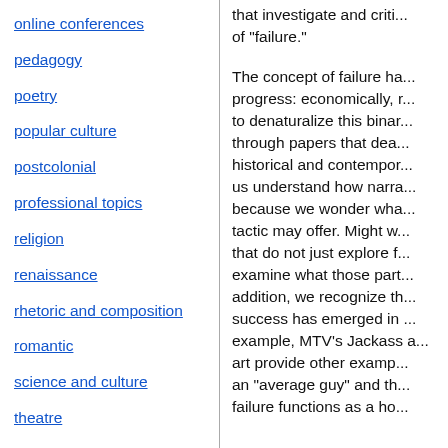online conferences
pedagogy
poetry
popular culture
postcolonial
professional topics
religion
renaissance
rhetoric and composition
romantic
science and culture
theatre
theory
translation studies
that investigate and criti... of "failure."
The concept of failure ha... progress: economically, r... to denaturalize this binar... through papers that dea... historical and contempor... us understand how narra... because we wonder wha... tactic may offer. Might w... that do not just explore f... examine what those part... addition, we recognize th... success has emerged in ... example, MTV's Jackass a... art provide other examp... an "average guy" and th... failure functions as a ho...